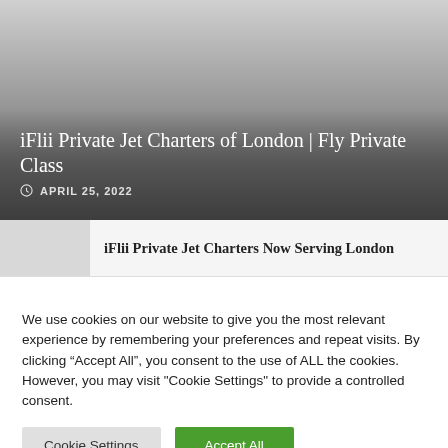[Figure (photo): Hero image of a private jet or similar, with dark gradient overlay at bottom]
iFlii Private Jet Charters of London | Fly Private Class
APRIL 25, 2022
iFlii Private Jet Charters Now Serving London
We use cookies on our website to give you the most relevant experience by remembering your preferences and repeat visits. By clicking “Accept All”, you consent to the use of ALL the cookies. However, you may visit "Cookie Settings" to provide a controlled consent.
Cookie Settings
Accept All